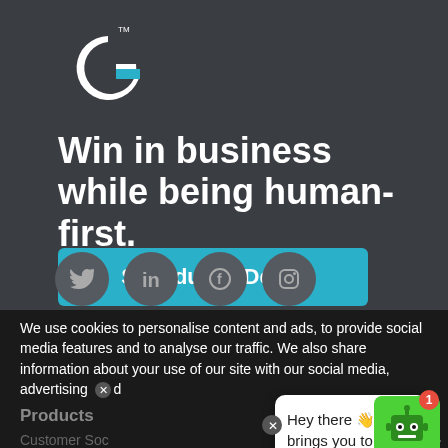[Figure (logo): Gainsight stylized G logo in white with blue accent and TM mark, on dark gray background]
Win in business while being human-first.
Schedule a Demo
[Figure (illustration): Social media icons: Twitter, LinkedIn, Facebook, Instagram — in dark gray circles]
We use cookies to personalise content and ads, to provide social media features and to analyse our traffic. We also share information about your use of our site with our social media, advertising and
Products
Customer Soc
Product Exper
Hey there 👋 What brings you to Gainsight today?
[Figure (illustration): Green robot chatbot icon with notification badge showing 1]